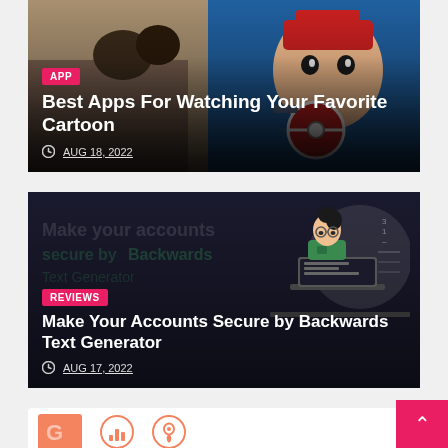[Figure (photo): Child watching cartoon (Pikachu/Ash) on TV, card with APP badge, title, and date]
Best Apps For Watching Your Favorite Cartoon
AUG 18, 2022
[Figure (illustration): Dark themed card with illustration of person at laptop, REVIEWS badge, title, and date]
Make Your Accounts Secure by Backwards Text Generator
AUG 17, 2022
[Figure (illustration): Partial card visible at bottom with orange shape and icons]